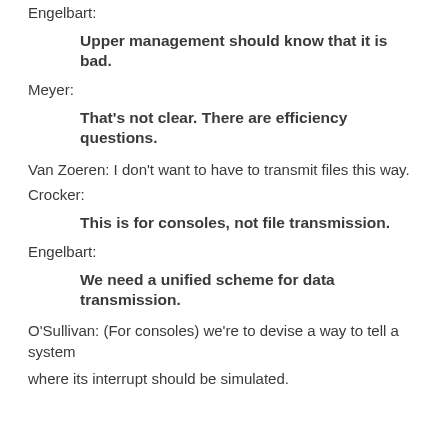Engelbart:
Upper management should know that it is bad.
Meyer:
That's not clear. There are efficiency questions.
Van Zoeren: I don't want to have to transmit files this way.
Crocker:
This is for consoles, not file transmission.
Engelbart:
We need a unified scheme for data transmission.
O'Sullivan: (For consoles) we're to devise a way to tell a system
where its interrupt should be simulated.